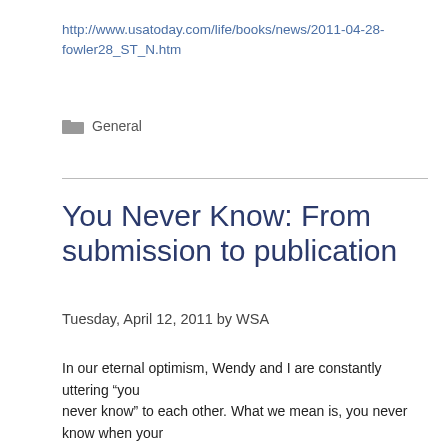http://www.usatoday.com/life/books/news/2011-04-28-fowler28_ST_N.htm
General
You Never Know: From submission to publication
Tuesday, April 12, 2011 by WSA
In our eternal optimism, Wendy and I are constantly uttering “you never know” to each other. What we mean is, you never know when your next great talent is sitting in the submissions inbox and you never know when the next bestseller is going to emerge from the barrage of